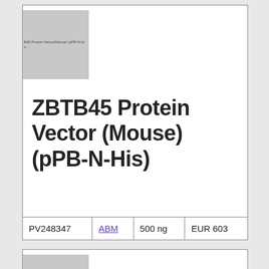[Figure (other): Thumbnail image placeholder for ZBTB45 Protein Vector (Mouse) (pPB-N-His) product]
ZBTB45 Protein Vector (Mouse) (pPB-N-His)
| PV248347 | ABM | 500 ng | EUR 603 |
| --- | --- | --- | --- |
| PV248347 | ABM | 500 ng | EUR 603 |
[Figure (other): Thumbnail image placeholder for ZBTB45 Protein Vector (Mouse) (pRACH...) product]